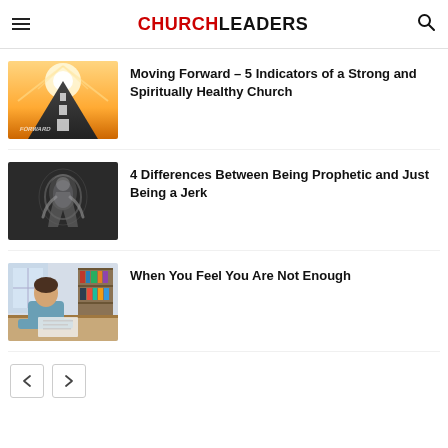CHURCHLEADERS
[Figure (photo): Bright light shining down a road with white arrows pointing forward, with the word FORWARD visible on the road surface]
Moving Forward – 5 Indicators of a Strong and Spiritually Healthy Church
[Figure (photo): Dark background with a glowing silhouette of a human figure in a contemplative or dynamic pose]
4 Differences Between Being Prophetic and Just Being a Jerk
[Figure (photo): A man in a blue shirt sitting at a desk, writing or reading, with bookshelves in the background]
When You Feel You Are Not Enough